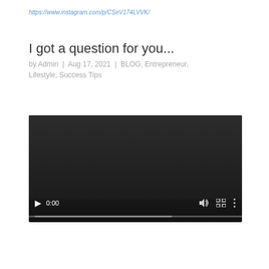https://www.instagram.com/p/CSeV174LVVK/
I got a question for you...
by Admin | Aug 17, 2021 | BLOG, Entrepreneur, Lifestyle, Success Tips
[Figure (screenshot): Video player showing a dark background with playback controls: play button, time display '0:00', volume icon, fullscreen icon, and a menu icon. A progress bar is shown at the bottom.]